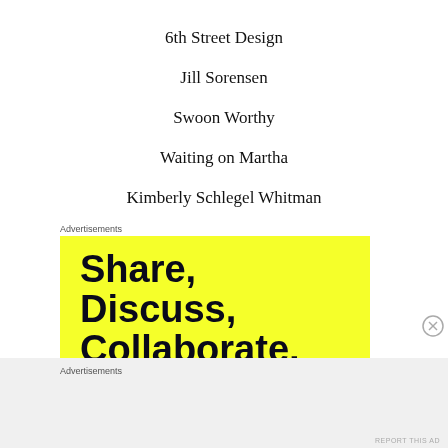6th Street Design
Jill Sorensen
Swoon Worthy
Waiting on Martha
Kimberly Schlegel Whitman
Advertisements
[Figure (other): Yellow advertisement banner with bold black text reading 'Share, Discuss, Collaborate, P2']
Advertisements
REPORT THIS AD